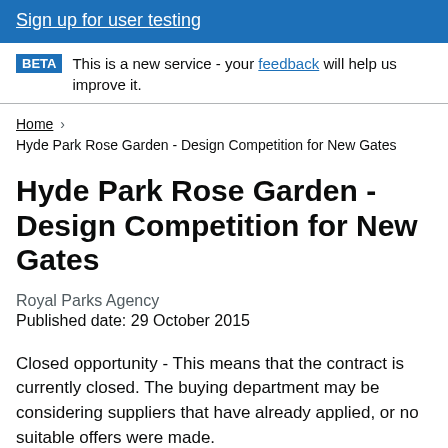Sign up for user testing
BETA This is a new service - your feedback will help us improve it.
Home > Hyde Park Rose Garden - Design Competition for New Gates
Hyde Park Rose Garden - Design Competition for New Gates
Royal Parks Agency
Published date: 29 October 2015
Closed opportunity - This means that the contract is currently closed. The buying department may be considering suppliers that have already applied, or no suitable offers were made.